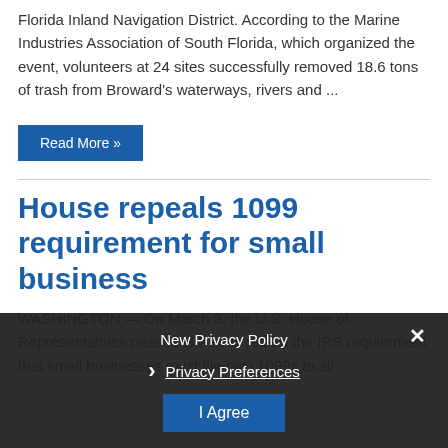Florida Inland Navigation District. According to the Marine Industries Association of South Florida, which organized the event, volunteers at 24 sites successfully removed 18.6 tons of trash from Broward's waterways, rivers and ...
Read More »
House repeals 1099 requirement for small business
WASHINGTON — On March 3, the U.S. House of Representatives passed H.R. 4 to repeal the IRS requirement that small businesses must file on 1099s to all
New Privacy Policy
Privacy Preferences
I Agree